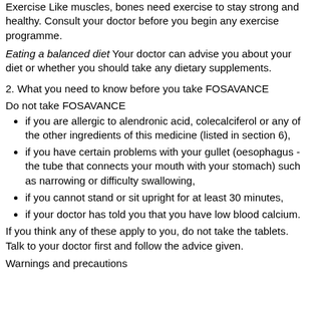Exercise Like muscles, bones need exercise to stay strong and healthy. Consult your doctor before you begin any exercise programme.
Eating a balanced diet Your doctor can advise you about your diet or whether you should take any dietary supplements.
2. What you need to know before you take FOSAVANCE
Do not take FOSAVANCE
if you are allergic to alendronic acid, colecalciferol or any of the other ingredients of this medicine (listed in section 6),
if you have certain problems with your gullet (oesophagus - the tube that connects your mouth with your stomach) such as narrowing or difficulty swallowing,
if you cannot stand or sit upright for at least 30 minutes,
if your doctor has told you that you have low blood calcium.
If you think any of these apply to you, do not take the tablets. Talk to your doctor first and follow the advice given.
Warnings and precautions